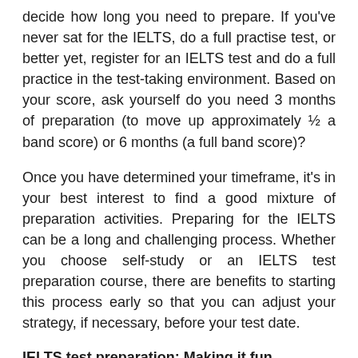decide how long you need to prepare. If you've never sat for the IELTS, do a full practise test, or better yet, register for an IELTS test and do a full practice in the test-taking environment. Based on your score, ask yourself do you need 3 months of preparation (to move up approximately ½ a band score) or 6 months (a full band score)?
Once you have determined your timeframe, it's in your best interest to find a good mixture of preparation activities. Preparing for the IELTS can be a long and challenging process. Whether you choose self-study or an IELTS test preparation course, there are benefits to starting this process early so that you can adjust your strategy, if necessary, before your test date.
IELTS test preparation: Making it fun
If you're in an English-speaking country during your preparation time, you'll have the advantage of immersion. Living in the target language will present you with the opportunity to communicate and interact in English daily, and this form of practice will help you improve.